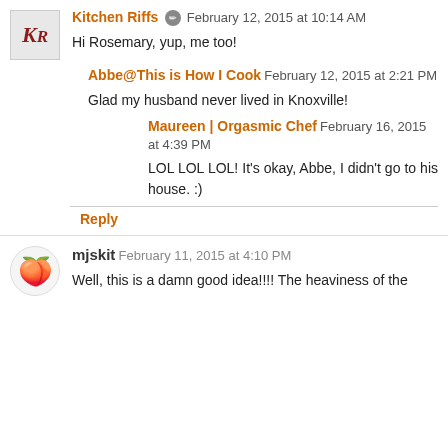Kitchen Riffs [pencil icon] February 12, 2015 at 10:14 AM
Hi Rosemary, yup, me too!
Abbe@This is How I Cook February 12, 2015 at 2:21 PM
Glad my husband never lived in Knoxville!
Maureen | Orgasmic Chef February 16, 2015 at 4:39 PM
LOL LOL LOL! It's okay, Abbe, I didn't go to his house. :)
Reply
mjskit February 11, 2015 at 4:10 PM
Well, this is a damn good idea!!!! The heaviness of the